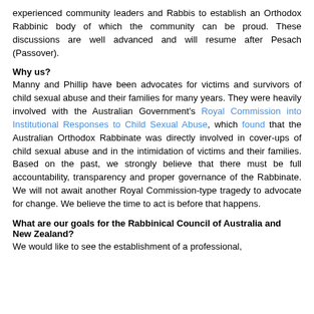experienced community leaders and Rabbis to establish an Orthodox Rabbinic body of which the community can be proud. These discussions are well advanced and will resume after Pesach (Passover).
Why us?
Manny and Phillip have been advocates for victims and survivors of child sexual abuse and their families for many years. They were heavily involved with the Australian Government's Royal Commission into Institutional Responses to Child Sexual Abuse, which found that the Australian Orthodox Rabbinate was directly involved in cover-ups of child sexual abuse and in the intimidation of victims and their families. Based on the past, we strongly believe that there must be full accountability, transparency and proper governance of the Rabbinate. We will not await another Royal Commission-type tragedy to advocate for change. We believe the time to act is before that happens.
What are our goals for the Rabbinical Council of Australia and New Zealand?
We would like to see the establishment of a professional,